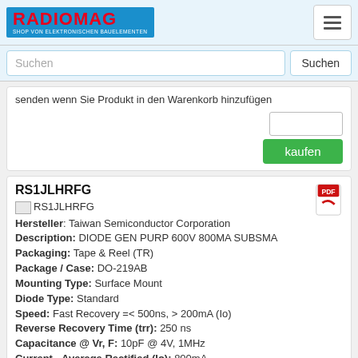[Figure (logo): RadioMag logo - shop von elektronischen Bauelementen]
Suchen
senden wenn Sie Produkt in den Warenkorb hinzufügen
kaufen
RS1JLHRFG
Hersteller: Taiwan Semiconductor Corporation
Description: DIODE GEN PURP 600V 800MA SUBSMA
Packaging: Tape & Reel (TR)
Package / Case: DO-219AB
Mounting Type: Surface Mount
Diode Type: Standard
Speed: Fast Recovery =< 500ns, > 200mA (Io)
Reverse Recovery Time (trr): 250 ns
Capacitance @ Vr, F: 10pF @ 4V, 1MHz
Current - Average Rectified (Io): 800mA
Supplier Device Package: Sub SMA
Operating Temperature - Junction: -55°C ~ 150°C